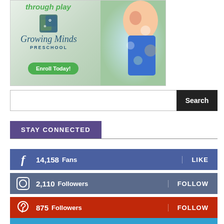[Figure (illustration): Growing Minds Preschool advertisement banner with text 'through play', cube logo, 'Growing Minds PRESCHOOL' branding, a photo of a smiling girl in blue, and a green 'Enroll Today!' button.]
Search
STAY CONNECTED
14,158  Fans  LIKE
2,110  Followers  FOLLOW
875  Followers  FOLLOW
10,262  Followers  FOLLOW